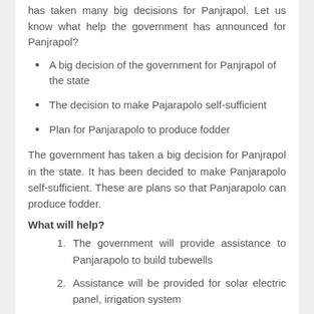has taken many big decisions for Panjrapol. Let us know what help the government has announced for Panjrapol?
A big decision of the government for Panjrapol of the state
The decision to make Pajarapolo self-sufficient
Plan for Panjarapolo to produce fodder
The government has taken a big decision for Panjrapol in the state. It has been decided to make Panjarapolo self-sufficient. These are plans so that Panjarapolo can produce fodder.
What will help?
The government will provide assistance to Panjarapolo to build tubewells
Assistance will be provided for solar electric panel, irrigation system
Assistance up to Rs. 10 lakhs will be provided for tubewells